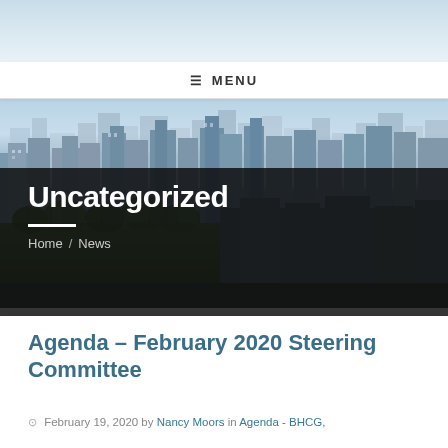[Figure (photo): City skyline aerial photo with buildings and green park area, used as page header background]
≡ MENU
Uncategorized
Home / News
Agenda – February 2020 Steering Committee
February 19, 2020 by Nancy Moors in Agenda - BHCG,